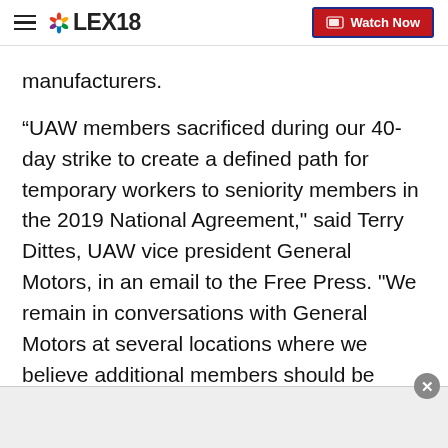LEX18 | Watch Now
manufacturers.
“UAW members sacrificed during our 40-day strike to create a defined path for temporary workers to seniority members in the 2019 National Agreement," said Terry Dittes, UAW vice president General Motors, in an email to the Free Press. "We remain in conversations with General Motors at several locations where we believe additional members should be moved to seniority status under the agreement."
UAW tells the Free Press that Fiat Chrysler also plans